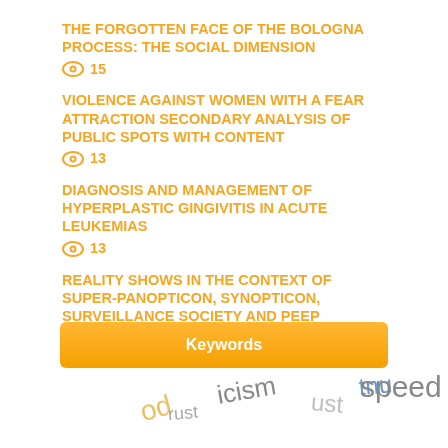THE FORGOTTEN FACE OF THE BOLOGNA PROCESS: THE SOCIAL DIMENSION
👁 15
VIOLENCE AGAINST WOMEN WITH A FEAR ATTRACTION SECONDARY ANALYSIS OF PUBLIC SPOTS WITH CONTENT
👁 13
DIAGNOSIS AND MANAGEMENT OF HYPERPLASTIC GINGIVITIS IN ACUTE LEUKEMIAS
👁 13
REALITY SHOWS IN THE CONTEXT OF SUPER-PANOPTICON, SYNOPTICON, SURVEILLANCE SOCIETY AND PEEP CULTURE: A STUDY ON SURVIVAL TV SHOWS
👁 13
Keywords
[Figure (infographic): Word cloud partially visible at the bottom, with words including 'speed', 'od', 'icism', 'ust', 'tnu' in various colors]